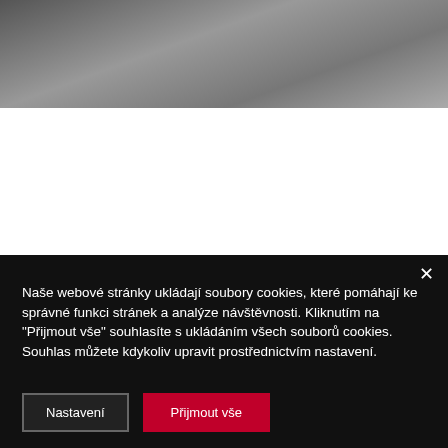[Figure (photo): Grayscale photo of an interior space with equipment/furniture visible in the upper portion of the page]
Naše webové stránky ukládají soubory cookies, které pomáhají ke správné funkci stránek a analýze návštěvnosti. Kliknutím na "Přijmout vše" souhlasíte s ukládáním všech souborů cookies. Souhlas můžete kdykoliv upravit prostřednictvím nastavení.
Nastavení
Přijmout vše